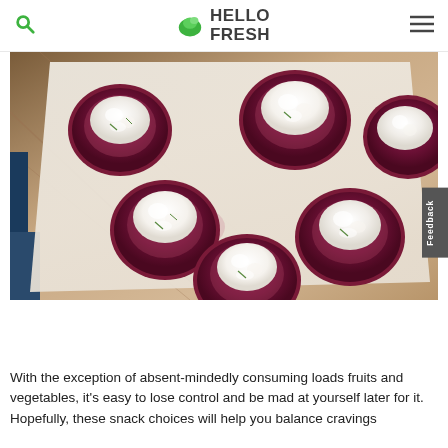HelloFresh
[Figure (photo): Baked beetroot/red beet rounds topped with white cream cheese or ricotta on parchment paper on a wooden board]
With the exception of absent-mindedly consuming loads fruits and vegetables, it's easy to lose control and be mad at yourself later for it. Hopefully, these snack choices will help you balance cravings